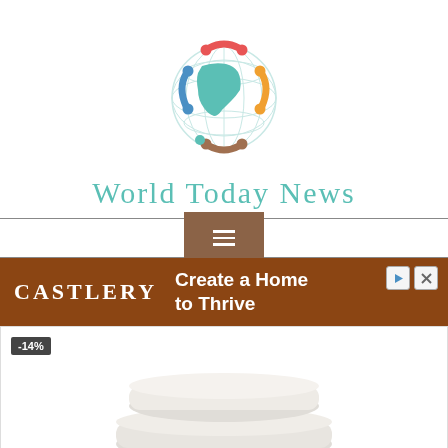[Figure (logo): World Today News globe logo with colorful people figures around a globe showing North America in teal/green, with red, orange, blue, brown, and green colored figures arranged in a circle]
World Today News
[Figure (infographic): Navigation hamburger menu button (three horizontal lines) on a brown/tan background]
[Figure (infographic): Castlery advertisement banner - brown background with text 'CASTLERY Create a Home to Thrive' and small play/close icons]
[Figure (photo): Product image showing two stacked white/light grey pillows with a -14% discount badge in the top left corner]